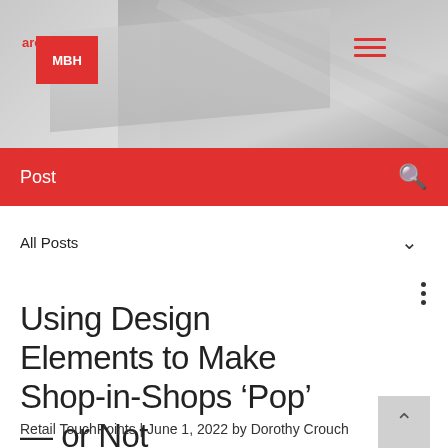[Figure (screenshot): MBH arch website header with greyscale architectural staircase background image]
MBH arch
Post
All Posts
Using Design Elements to Make Shop-in-Shops ‘Pop’ — or Not
Retail TouchPoints | June 1, 2022 by Dorothy Crouch